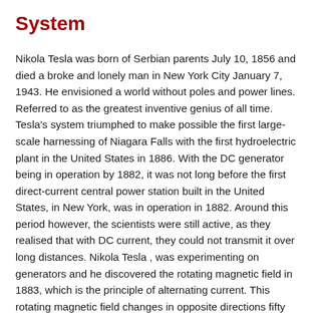System
Nikola Tesla was born of Serbian parents July 10, 1856 and died a broke and lonely man in New York City January 7, 1943. He envisioned a world without poles and power lines. Referred to as the greatest inventive genius of all time. Tesla's system triumphed to make possible the first large-scale harnessing of Niagara Falls with the first hydroelectric plant in the United States in 1886. With the DC generator being in operation by 1882, it was not long before the first direct-current central power station built in the United States, in New York, was in operation in 1882. Around this period however, the scientists were still active, as they realised that with DC current, they could not transmit it over long distances. Nikola Tesla , was experimenting on generators and he discovered the rotating magnetic field in 1883, which is the principle of alternating current. This rotating magnetic field changes in opposite directions fifty time a second and is called 50 Hertz. The alternating current generator has a rotating magnetic field and is referred to as a A.C. current. The direction current generator generates current in the one direction hence DC